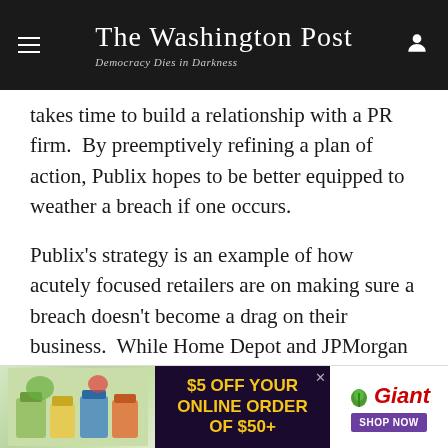The Washington Post — Democracy Dies in Darkness
takes time to build a relationship with a PR firm. By preemptively refining a plan of action, Publix hopes to be better equipped to weather a breach if one occurs.
Publix's strategy is an example of how acutely focused retailers are on making sure a breach doesn't become a drag on their business. While Home Depot and JPMorgan Chase don't appear to be facing much consumer backlash since their recent cyberattacks, retailers surely remember the wounds that Target suffered after its massive holiday season breach in 2013. Target's sales slipped, and the company has said
[Figure (other): Giant grocery store advertisement banner: '$5 OFF YOUR ONLINE ORDER OF $50+' with Giant logo and 'SHOP NOW' button, showing grocery products image on the left]